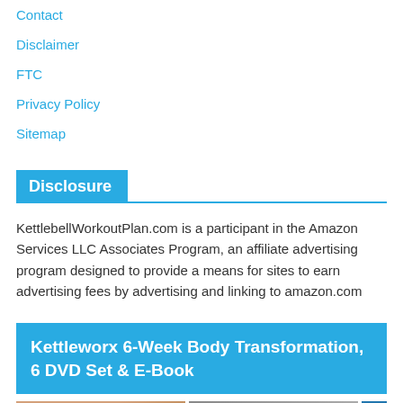Contact
Disclaimer
FTC
Privacy Policy
Sitemap
Disclosure
KettlebellWorkoutPlan.com is a participant in the Amazon Services LLC Associates Program, an affiliate advertising program designed to provide a means for sites to earn advertising fees by advertising and linking to amazon.com
Kettleworx 6-Week Body Transformation, 6 DVD Set & E-Book
[Figure (photo): Two thumbnail images of fitness/kettlebell products side by side, with a small blue square on the right]